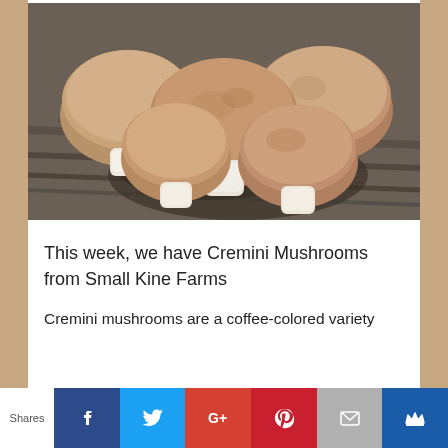[Figure (photo): Five cremini mushrooms with white stems arranged on a weathered dark wooden surface, photographed from above at a slight angle. The mushrooms have smooth, rounded brown caps.]
This week, we have Cremini Mushrooms from Small Kine Farms
Cremini mushrooms are a coffee-colored variety
Shares | Facebook | Twitter | G+ | Pinterest | Email | Crown